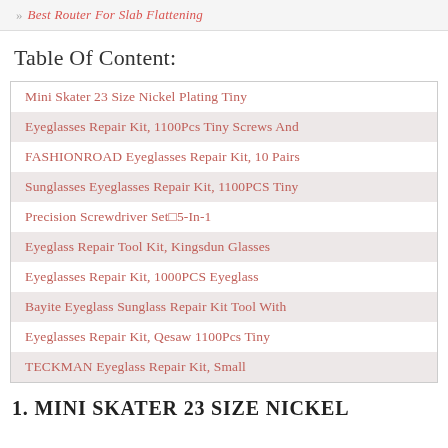» Best Router For Slab Flattening
Table Of Content:
Mini Skater 23 Size Nickel Plating Tiny
Eyeglasses Repair Kit, 1100Pcs Tiny Screws And
FASHIONROAD Eyeglasses Repair Kit, 10 Pairs
Sunglasses Eyeglasses Repair Kit, 1100PCS Tiny
Precision Screwdriver Set□5-In-1
Eyeglass Repair Tool Kit, Kingsdun Glasses
Eyeglasses Repair Kit, 1000PCS Eyeglass
Bayite Eyeglass Sunglass Repair Kit Tool With
Eyeglasses Repair Kit, Qesaw 1100Pcs Tiny
TECKMAN Eyeglass Repair Kit, Small
1. MINI SKATER 23 SIZE NICKEL